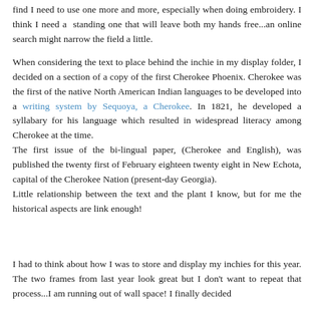find I need to use one more and more, especially when doing embroidery. I think I need a standing one that will leave both my hands free...an online search might narrow the field a little.
When considering the text to place behind the inchie in my display folder, I decided on a section of a copy of the first Cherokee Phoenix. Cherokee was the first of the native North American Indian languages to be developed into a writing system by Sequoya, a Cherokee. In 1821, he developed a syllabary for his language which resulted in widespread literacy among Cherokee at the time. The first issue of the bi-lingual paper, (Cherokee and English), was published the twenty first of February eighteen twenty eight in New Echota, capital of the Cherokee Nation (present-day Georgia). Little relationship between the text and the plant I know, but for me the historical aspects are link enough!
I had to think about how I was to store and display my inchies for this year. The two frames from last year look great but I don't want to repeat that process...I am running out of wall space! I finally decided